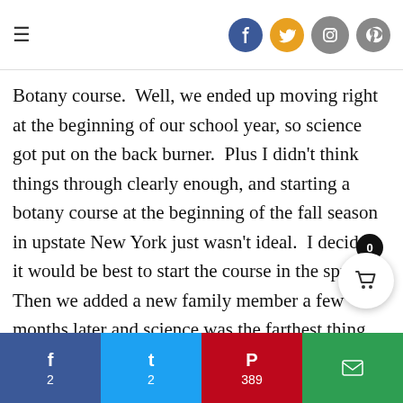Navigation menu and social icons (Facebook, Twitter, Instagram, Pinterest)
Botany course.  Well, we ended up moving right at the beginning of our school year, so science got put on the back burner.  Plus I didn't think things through clearly enough, and starting a botany course at the beginning of the fall season in upstate New York just wasn't ideal.  I decided it would be best to start the course in the spring.  Then we added a new family member a few months later and science was the farthest thing from my mind.
f 2   t 2   p 389   email share